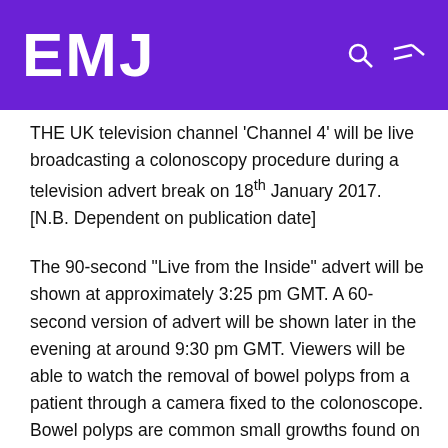EMJ
THE UK television channel ‘Channel 4’ will be live broadcasting a colonoscopy procedure during a television advert break on 18th January 2017. [N.B. Dependent on publication date]
The 90-second “Live from the Inside” advert will be shown at approximately 3:25 pm GMT. A 60-second version of advert will be shown later in the evening at around 9:30 pm GMT. Viewers will be able to watch the removal of bowel polyps from a patient through a camera fixed to the colonoscope. Bowel polyps are common small growths found on the inner lining of the colon or rectum. These growths are common and can sometimes become